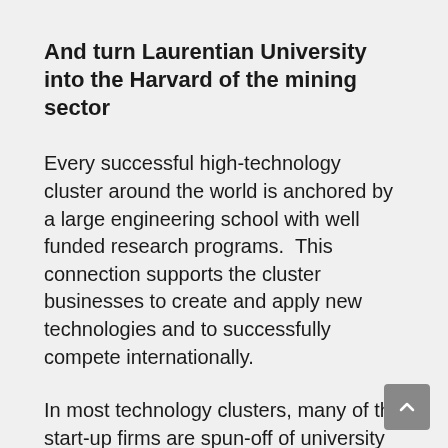And turn Laurentian University into the Harvard of the mining sector
Every successful high-technology cluster around the world is anchored by a large engineering school with well funded research programs.  This connection supports the cluster businesses to create and apply new technologies and to successfully compete internationally.
In most technology clusters, many of the start-up firms are spun-off of university research activities. The best example of this is California's Silicon Valley, the premier high-technology centre in the world and it